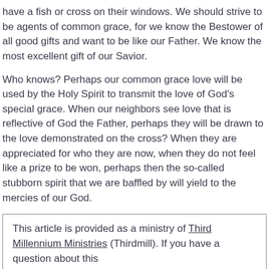have a fish or cross on their windows. We should strive to be agents of common grace, for we know the Bestower of all good gifts and want to be like our Father. We know the most excellent gift of our Savior.
Who knows? Perhaps our common grace love will be used by the Holy Spirit to transmit the love of God's special grace. When our neighbors see love that is reflective of God the Father, perhaps they will be drawn to the love demonstrated on the cross? When they are appreciated for who they are now, when they do not feel like a prize to be won, perhaps then the so-called stubborn spirit that we are baffled by will yield to the mercies of our God.
This article is provided as a ministry of Third Millennium Ministries (Thirdmill). If you have a question about this